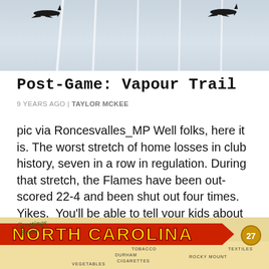[Figure (photo): Photo of airplanes leaving vapour trails in a grey sky, two aircraft visible silhouetted against pale grey background with vertical white streak trails]
Post-Game: Vapour Trail
9 YEARS AGO | TAYLOR MCKEE
pic via Roncesvalles_MP Well folks, here it is. The worst stretch of home losses in club history, seven in a row in regulation. During that stretch, the Flames have been out-scored 22-4 and been shut out four times. Yikes.  You'll be able to tell your kids about this bunch of games, presumably cautioning them to…
[Figure (photo): Colourful vintage-style postcard graphic reading 'Greetings From North Carolina' with illustrated map elements including Durham, Tobacco, Cigarettes, Rocky Mount, Vegetables labels and a cartoon figure, number 27 badge visible]